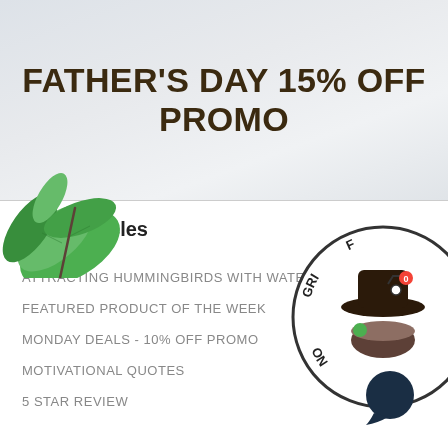FATHER'S DAY 15% OFF PROMO
[Figure (illustration): Green leaves decoration in top-left of content area, overlapping banner and white area]
[Figure (logo): Circular logo with hat/food imagery and text around the border, partially cut off on right side]
[Figure (illustration): Dark navy speech/chat bubble icon in bottom right area]
More Articles
ATTRACTING HUMMINGBIRDS WITH WATER
FEATURED PRODUCT OF THE WEEK
MONDAY DEALS - 10% OFF PROMO
MOTIVATIONAL QUOTES
5 STAR REVIEW